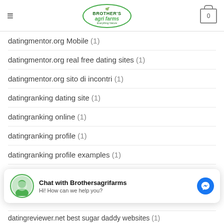[Figure (logo): Brother's Agri Farms logo in green oval with tagline 'Everything Nature']
datingmentor.org Mobile (1)
datingmentor.org real free dating sites (1)
datingmentor.org sito di incontri (1)
datingranking dating site (1)
datingranking online (1)
datingranking profile (1)
datingranking profile examples (1)
datingranking profiles (1)
[Figure (screenshot): Facebook Messenger chat widget: 'Chat with Brothersagrifarms' and 'Hi! How can we help you?']
datingreviewer.net best sugar daddy websites (1)